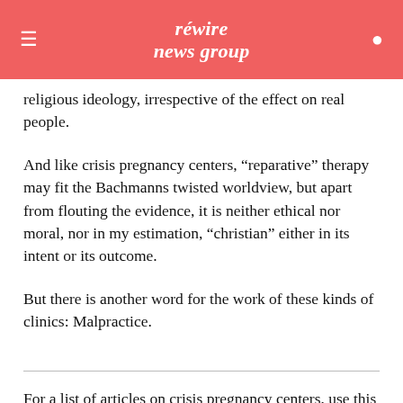rewire news group
religious ideology, irrespective of the effect on real people.
And like crisis pregnancy centers, “reparative” therapy may fit the Bachmanns twisted worldview, but apart from flouting the evidence, it is neither ethical nor moral, nor in my estimation, “christian” either in its intent or its outcome.
But there is another word for the work of these kinds of clinics: Malpractice.
For a list of articles on crisis pregnancy centers, use this